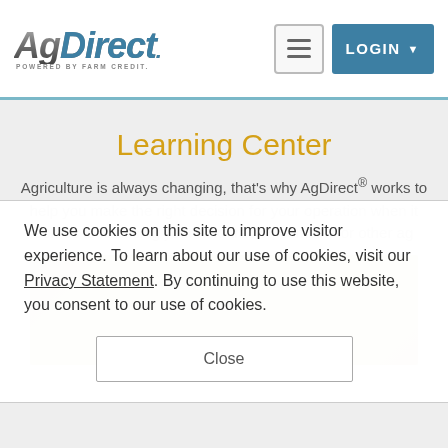[Figure (logo): AgDirect logo — styled italic bold text with 'Powered by Farm Credit' subtitle]
[Figure (other): Hamburger menu icon button]
[Figure (other): LOGIN button with dropdown arrow]
Learning Center
Agriculture is always changing, that's why AgDirect® works to help you make the right decision for your operation when it comes to financing your next tractor, combine or other ag
We use cookies on this site to improve visitor experience. To learn about our use of cookies, visit our Privacy Statement. By continuing to use this website, you consent to our use of cookies.
Close